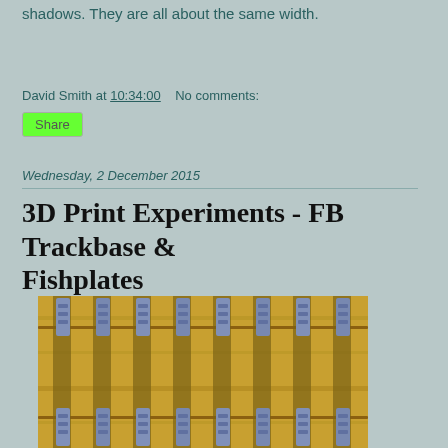shadows. They are all about the same width.
David Smith at 10:34:00   No comments:
Share
Wednesday, 2 December 2015
3D Print Experiments - FB Trackbase & Fishplates
[Figure (photo): Photograph of 3D printed FB trackbase and fishplates on model railway track, showing blue-grey fishplates attached to golden-coloured track base with sleepers]